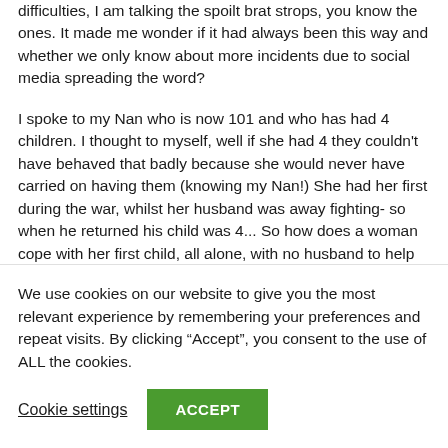difficulties, I am talking the spoilt brat strops, you know the ones. It made me wonder if it had always been this way and whether we only know about more incidents due to social media spreading the word?
I spoke to my Nan who is now 101 and who has had 4 children. I thought to myself, well if she had 4 they couldn't have behaved that badly because she would never have carried on having them (knowing my Nan!) She had her first during the war, whilst her husband was away fighting- so when he returned his child was 4... So how does a woman cope with her first child, all alone, with no husband to help and see all the ‘firsts’ whilst not even knowing if he will even
We use cookies on our website to give you the most relevant experience by remembering your preferences and repeat visits. By clicking “Accept”, you consent to the use of ALL the cookies.
Cookie settings
ACCEPT